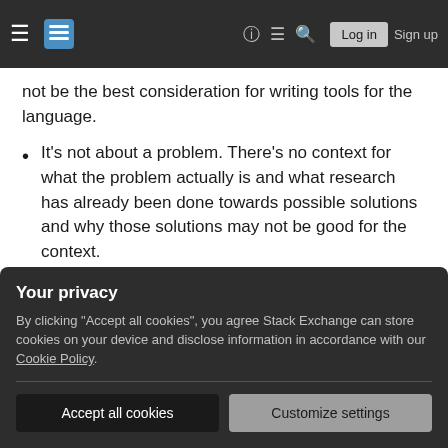Stack Exchange navigation bar with hamburger menu, logo, help, chat, search icons, Log in and Sign up buttons
not be the best consideration for writing tools for the language.
It's not about a problem. There's no context for what the problem actually is and what research has already been done towards possible solutions and why those solutions may not be good for the context.
It's a pros and cons question, which tends to attract a lot of opinionated answers. It's incredibly difficult to write a comprehensive
Your privacy
By clicking "Accept all cookies", you agree Stack Exchange can store cookies on your device and disclose information in accordance with our Cookie Policy.
Accept all cookies   Customize settings